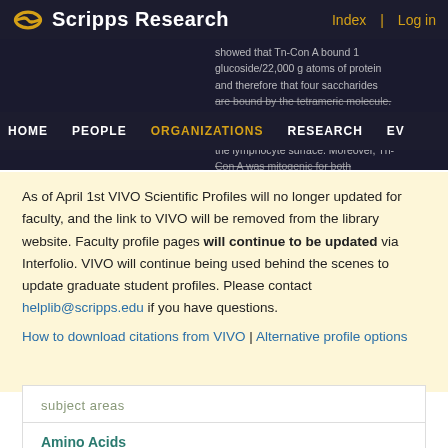Scripps Research — Index | Log in — HOME | PEOPLE | ORGANIZATIONS | RESEARCH | EV
showed that Tn-Con A bound 1 glucoside/22,000 g atoms of protein and therefore that four saccharides are bound by the tetrameric molecule. Tn-Con A and native concanavalin A ... the lymphocyte surface. Moreover, Tn-Con A was mitogenic for both ...
As of April 1st VIVO Scientific Profiles will no longer updated for faculty, and the link to VIVO will be removed from the library website. Faculty profile pages will continue to be updated via Interfolio. VIVO will continue being used behind the scenes to update graduate student profiles. Please contact helplib@scripps.edu if you have questions.
How to download citations from VIVO | Alternative profile options
subject areas
Amino Acids
Animals